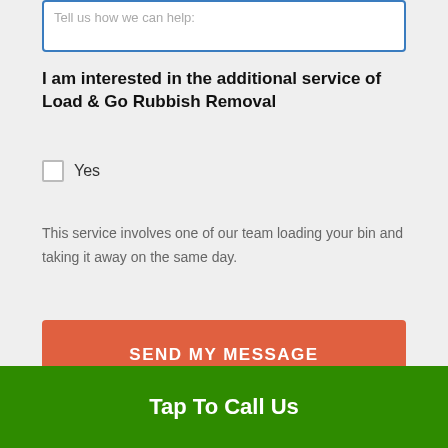Tell us how we can help:
I am interested in the additional service of Load & Go Rubbish Removal
Yes
This service involves one of our team loading your bin and taking it away on the same day.
SEND MY MESSAGE
Tap To Call Us